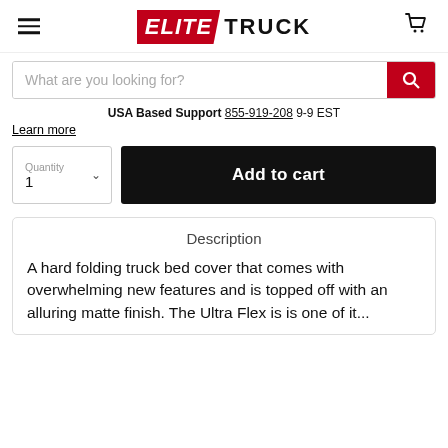Elite Truck
What are you looking for?
USA Based Support 855-919-208 9-9 EST
Learn more
Quantity 1 Add to cart
Description
A hard folding truck bed cover that comes with overwhelming new features and is topped off with an alluring matte finish. The Ultra Flex is is one of our...